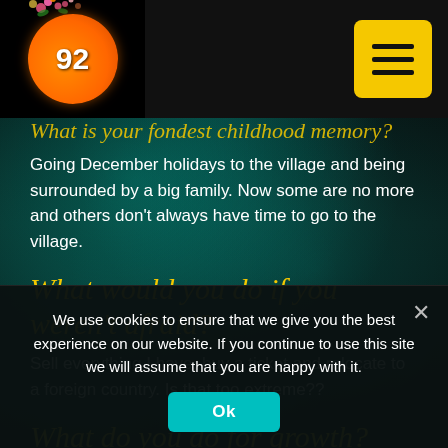92 [logo/radio brand]
What is your fondest childhood memory?
Going December holidays to the village and being surrounded by a big family. Now some are no more and others don't always have time to go to the village.
What would you do if you weren't afraid?
Sell everything I have, buy a ticket and relocate to a foreign country. Is that too extreme??
What do you do for growth?
I read psychological books. I try out new things like foreign cuisine...
We use cookies to ensure that we give you the best experience on our website. If you continue to use this site we will assume that you are happy with it.